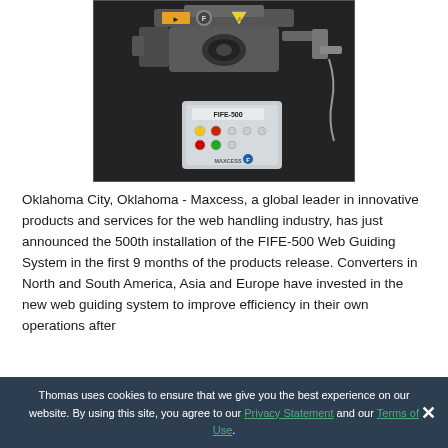[Figure (photo): Photo of the FIFE-500 Web Guiding System device: a mechanical laser-equipped guiding head mounted on a frame with a separate control box labeled FIFE-500 showing buttons and indicators, on a dark background.]
Oklahoma City, Oklahoma - Maxcess, a global leader in innovative products and services for the web handling industry, has just announced the 500th installation of the FIFE-500 Web Guiding System in the first 9 months of the products release. Converters in North and South America, Asia and Europe have invested in the new web guiding system to improve efficiency in their own operations after
Thomas uses cookies to ensure that we give you the best experience on our website. By using this site, you agree to our Privacy Statement and our Terms of Use.